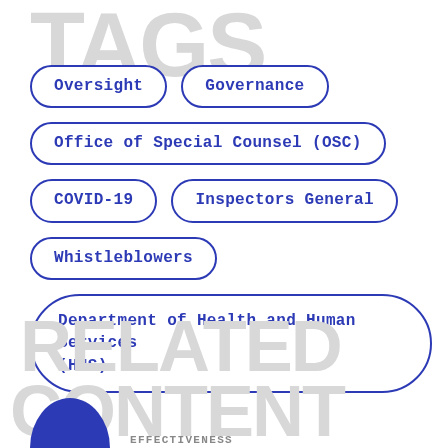TAGS
Oversight
Governance
Office of Special Counsel (OSC)
COVID-19
Inspectors General
Whistleblowers
Department of Health and Human Services (HHS)
RELATED CONTENT
EFFECTIVENESS